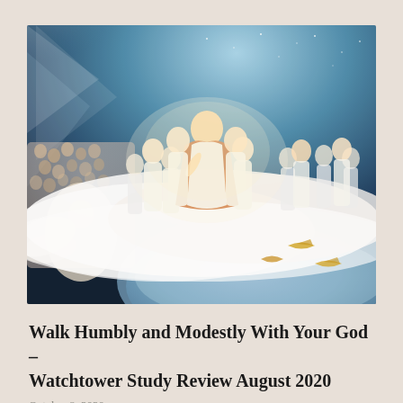[Figure (illustration): A religious illustration depicting robed heavenly figures standing on clouds above the earth. A central figure in white and orange robes stands prominently among a group of people in white garments. Below, on the left, are angelic figures and a large crowd. Golden birds fly over a glowing earth and ocean in the background, under a starry teal sky with divine light rays.]
Walk Humbly and Modestly With Your God – Watchtower Study Review August 2020
October 8, 2020